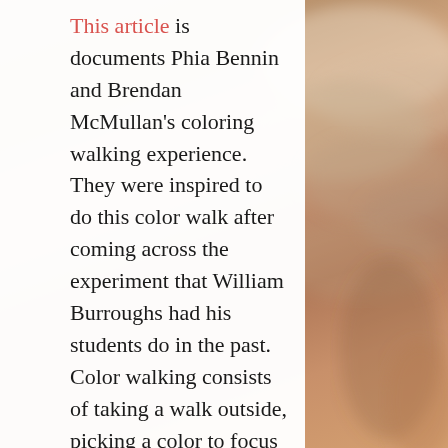This article is documents Phia Bennin and Brendan McMullan's coloring walking experience. They were inspired to do this color walk after coming across the experiment that William Burroughs had his students do in the past. Color walking consists of taking a walk outside, picking a color to focus on, and following that color as you view your surroundings during your walk. Bennin and McMullan decided to take their walk around lower Manhattan on a Sunday afternoon and they noticed how following one color led them to